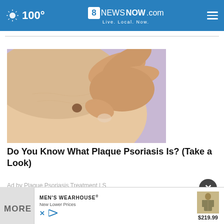100° 8NewsNOW.com Live. Local. Now.
[Figure (photo): Close-up photo of a hand scratching skin with a visible mole or plaque psoriasis lesion on skin, purple/lavender background]
Do You Know What Plaque Psoriasis Is? (Take a Look)
Ad by Plaque Psoriasis Treatment | S
[Figure (photo): Men's Wearhouse advertisement banner showing a suited figure with price $219.99]
MEN'S WEARHOUSE® New Lower Prices $219.99
MORE